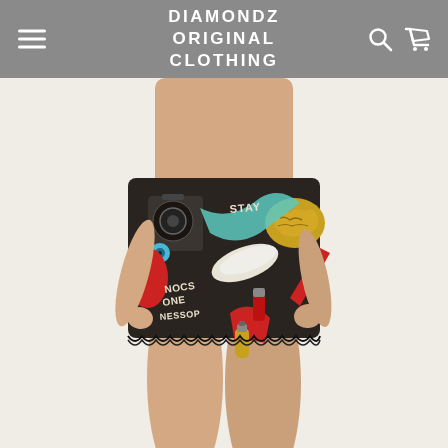DIAMONDZ ORIGINAL CLOTHING
[Figure (photo): E-commerce product page screenshot showing a woman wearing a mini skirt with colorful graffiti/hip-hop graphic print featuring speakers, hands, lettering and street art elements on a dark background, with black lace trim at hem.]